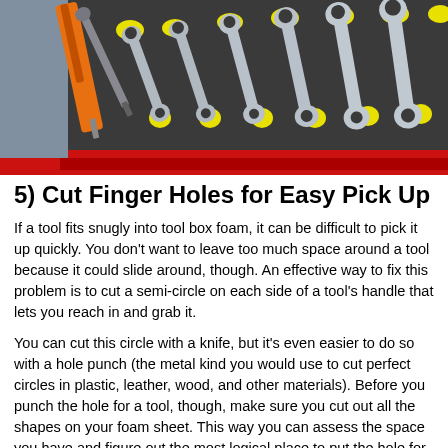[Figure (photo): Illustration of a tool organizer foam insert in a red toolbox, showing multiple wrenches and screwdrivers arranged in cut foam slots with yellow finger holes for easy pick up.]
5) Cut Finger Holes for Easy Pick Up
If a tool fits snugly into tool box foam, it can be difficult to pick it up quickly. You don't want to leave too much space around a tool because it could slide around, though. An effective way to fix this problem is to cut a semi-circle on each side of a tool's handle that lets you reach in and grab it.
You can cut this circle with a knife, but it's even easier to do so with a hole punch (the metal kind you would use to cut perfect circles in plastic, leather, wood, and other materials). Before you punch the hole for a tool, though, make sure you cut out all the shapes on your foam sheet. This way you can assess the space you have and figure out the most logical place to put the hole for easy tool pick up.